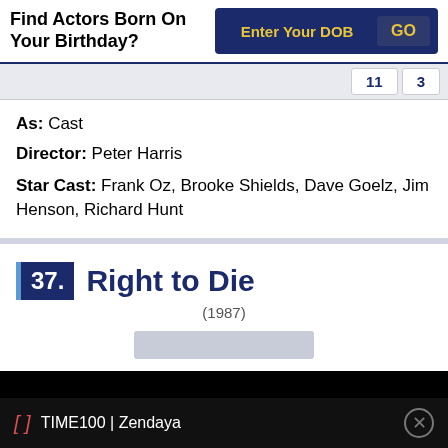Find Actors Born On Your Birthday?
Enter Your DOB | GO
11  3
As: Cast
Director: Peter Harris
Star Cast: Frank Oz, Brooke Shields, Dave Goelz, Jim Henson, Richard Hunt
37. Right to Die (1987)
TIME100 | Zendaya